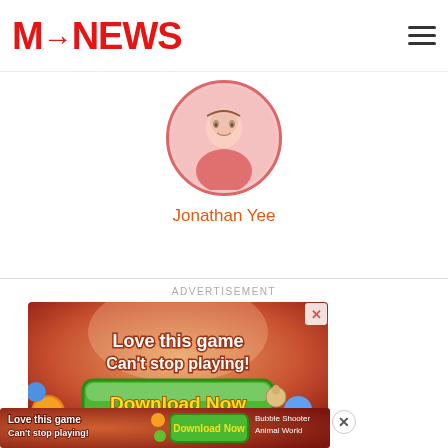M-News
[Figure (illustration): Circular avatar of author Jonathan Yee, illustrated character in pink shirt]
Jonathan Yee
ADVERTISEMENT
[Figure (illustration): Mobile game advertisement: Love this game Can't stop playing! Download Now]
[Figure (illustration): Bottom banner ad: Love this game Can't stop playing! Download Now - Bubble Shooter Animal World]